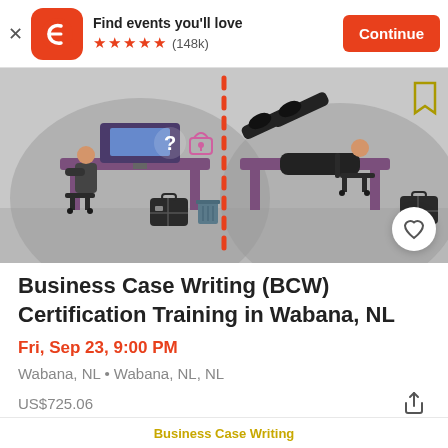Find events you'll love | (148k) | Continue
[Figure (illustration): Office scene illustration showing two workers at desks separated by a dotted orange vertical line. Left side: person working at a computer with a question mark and lock icon. Right side: person reclining with feet up. A briefcase and trash bin are visible. Heart/favorite button in lower right.]
Business Case Writing (BCW) Certification Training in Wabana, NL
Fri, Sep 23, 9:00 PM
Wabana, NL • Wabana, NL, NL
US$725.06
Business Case Writing